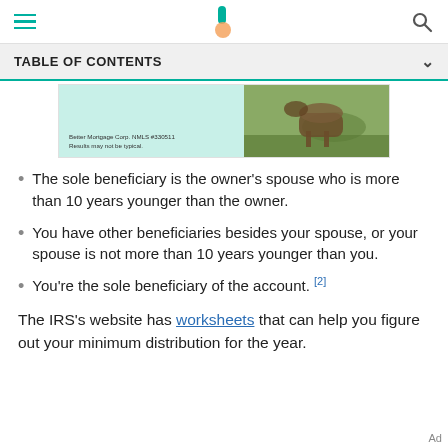TABLE OF CONTENTS
[Figure (photo): Advertisement image showing a green panel with 'Better Mortgage Corp. NMLS #330511 Results may not be typical.' text beside a photo of a horse in a field.]
The sole beneficiary is the owner's spouse who is more than 10 years younger than the owner.
You have other beneficiaries besides your spouse, or your spouse is not more than 10 years younger than you.
You're the sole beneficiary of the account. [2]
The IRS's website has worksheets that can help you figure out your minimum distribution for the year.